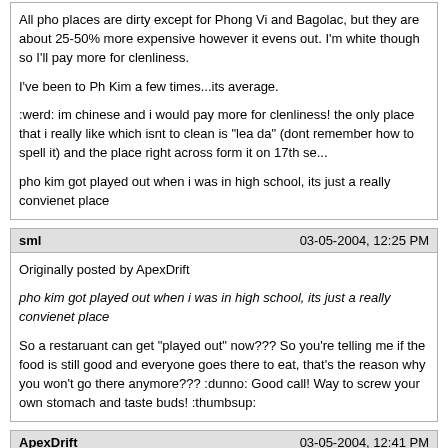All pho places are dirty except for Phong Vi and Bagolac, but they are about 25-50% more expensive however it evens out. I'm white though so I'll pay more for clenliness.

I've been to Ph Kim a few times...its average.

:werd: im chinese and i would pay more for clenliness! the only place that i really like which isnt to clean is "lea da" (dont remember how to spell it) and the place right across form it on 17th se...

pho kim got played out when i was in high school, its just a really convienet place
sml | 03-05-2004, 12:25 PM
Originally posted by ApexDrift
pho kim got played out when i was in high school, its just a really convienet place
So a restaruant can get "played out" now??? So you're telling me if the food is still good and everyone goes there to eat, that's the reason why you won't go there anymore??? :dunno: Good call! Way to screw your own stomach and taste buds! :thumbsup:
ApexDrift | 03-05-2004, 12:41 PM
sorry i guess played out wasnt the best choice of words... what i want to say is that the food got worse, smaller portions, price went up... the food there isnt that great anyways...
BebeAphrodite | 03-05-2004, 03:50 PM
Originally posted by Ben
All pho places are dirty except for Phong Vi and Bagolac, but they are about